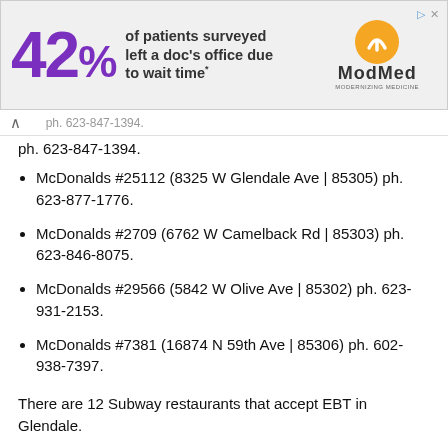[Figure (other): Advertisement banner: '42% of patients surveyed left a doc's office due to wait time*' with ModMed logo]
ph. 623-847-1394.
McDonalds #25112 (8325 W Glendale Ave | 85305) ph. 623-877-1776.
McDonalds #2709 (6762 W Camelback Rd | 85303) ph. 623-846-8075.
McDonalds #29566 (5842 W Olive Ave | 85302) ph. 623-931-2153.
McDonalds #7381 (16874 N 59th Ave | 85306) ph. 602-938-7397.
There are 12 Subway restaurants that accept EBT in Glendale.